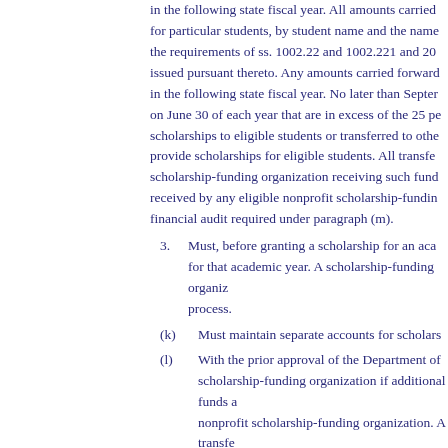in the following state fiscal year. All amounts carried for particular students, by student name and the name the requirements of ss. 1002.22 and 1002.221 and 20 issued pursuant thereto. Any amounts carried forward in the following state fiscal year. No later than September on June 30 of each year that are in excess of the 25 pe scholarships to eligible students or transferred to othe provide scholarships for eligible students. All transfer scholarship-funding organization receiving such fund received by any eligible nonprofit scholarship-fundin financial audit required under paragraph (m).
3.    Must, before granting a scholarship for an aca for that academic year. A scholarship-funding organiz process.
(k)    Must maintain separate accounts for scholars
(l)    With the prior approval of the Department of scholarship-funding organization if additional funds a nonprofit scholarship-funding organization. A transfe total contributions received by the nonprofit scholars transferred funds must be deposited by the receiving scholarship accounts. All transferred amounts receive be separately disclosed in the annual financial and co
(m)    Must provide to the Auditor General and the